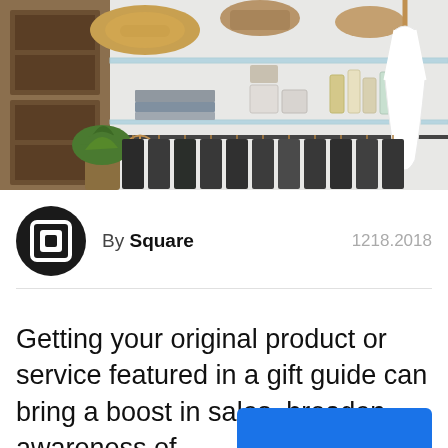[Figure (photo): A well-organized walk-in closet with glass shelves holding hats, folded clothes, beauty products, and a white dress on a hanger. Below the shelves are rows of clothes hanging on wooden hangers.]
By Square   1218.2018
Getting your original product or service featured in a gift guide can bring a boost in sales, broaden awareness of